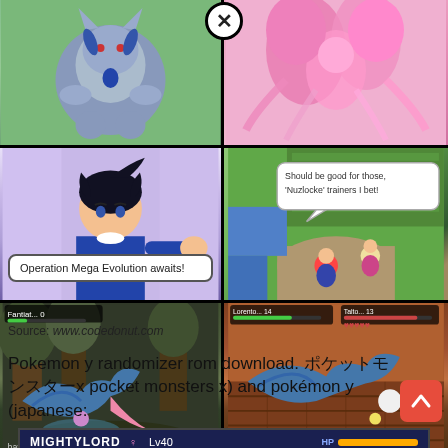[Figure (screenshot): Grid of four Pokemon game screenshots: top-left shows Lucario silhouette on green background with close button overlay, top-right shows pink Pokemon (Sylveon/Diancie), middle-left shows anime-style trainer character with dialog 'Operation Mega Evolution awaits!', middle-right shows Pokemon X/Y top-down game view with speech bubble 'Should be good for those, Nuzlocke trainers I bet!', bottom-left and bottom-right show Pokemon battle scenes with 'What will Sneaker do?' dialog, featuring Aerodactyl in a forest and indoor battle respectively]
Source: www.codedonut.com
Pokemon y randomizer rom download. ポケットモンスターx pocket monsters x) and pokémon y (japanese:
[Figure (screenshot): Pokemon battle UI showing MIGHTYLORD female Lv40 with HP bar and MIGHTERUPT female Lv40 with close button, battle scene visible on right side]